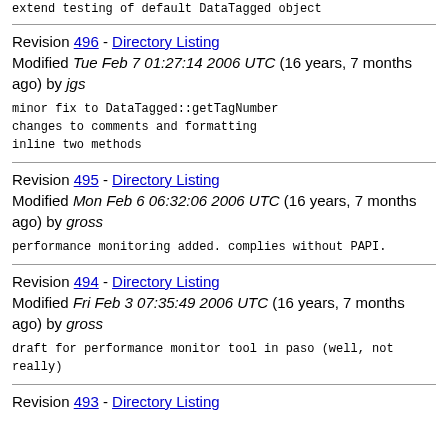extend testing of default DataTagged object
Revision 496 - Directory Listing
Modified Tue Feb 7 01:27:14 2006 UTC (16 years, 7 months ago) by jgs
minor fix to DataTagged::getTagNumber
changes to comments and formatting
inline two methods
Revision 495 - Directory Listing
Modified Mon Feb 6 06:32:06 2006 UTC (16 years, 7 months ago) by gross
performance monitoring added. complies without PAPI.
Revision 494 - Directory Listing
Modified Fri Feb 3 07:35:49 2006 UTC (16 years, 7 months ago) by gross
draft for performance monitor tool in paso (well, not really)
Revision 493 - Directory Listing